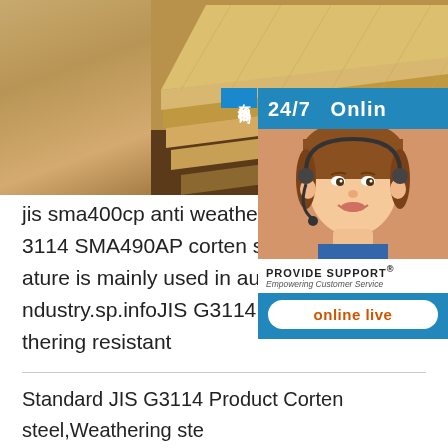[Figure (photo): Stack of weathering steel / corten steel plates, showing layered metal sheets with warm brown/tan tones]
[Figure (other): 24/7 Online customer support widget with photo of female headset agent, PROVIDE SUPPORT® Empowering Customer Service branding, online live button, and Chinese text 在线咨询]
jis sma400cp anti weathering corrosion s... 3114 SMA490AP corten steel can withst... ature is mainly used in automobile or in i... ndustry.sp.infoJIS G3114 structural steel... thering resistant
Standard JIS G3114 Product Corten steel,Weathering steel,Weathering resistant steel,atmosphere corrosion resistance steel Steel Grade SMA400AW,SMA400BW,SMA40